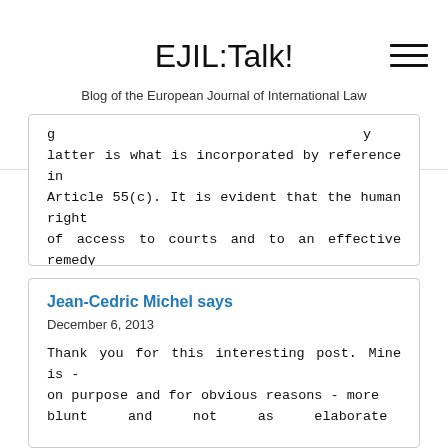EJIL:Talk! — Blog of the European Journal of International Law
g … y latter is what is incorporated by reference in Article 55(c). It is evident that the human right of access to courts and to an effective remedy is part of customary human rights law (e.g., http://ssrn.com/abstract=1487770 ).
Jean-Cedric Michel says
December 6, 2013
Thank you for this interesting post. Mine is - on purpose and for obvious reasons - more blunt … and … not … as … elaborate …